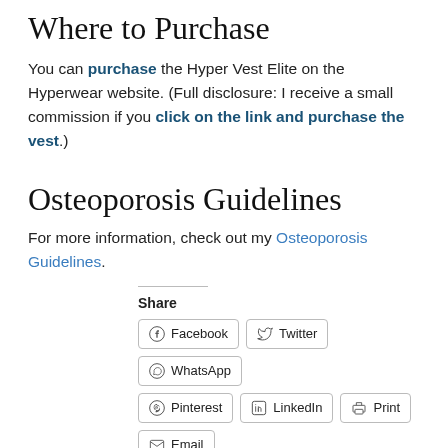Where to Purchase
You can purchase the Hyper Vest Elite on the Hyperwear website. (Full disclosure: I receive a small commission if you click on the link and purchase the vest.)
Osteoporosis Guidelines
For more information, check out my Osteoporosis Guidelines.
Share
Facebook  Twitter  WhatsApp  Pinterest  LinkedIn  Print  Email